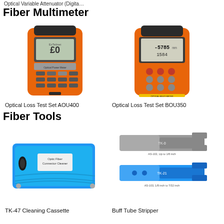Optical Variable Attenuator (Digita…
Fiber Multimeter
[Figure (photo): Orange handheld Optical Loss Test Set AOU400 device with LCD screen and keypad]
Optical Loss Test Set AOU400
[Figure (photo): Orange/dark handheld Optical Loss Test Set BOU350 device with digital display showing -5785 and 1584, with circular keypads]
Optical Loss Test Set BOU350
Fiber Tools
[Figure (photo): Blue TK-47 Optic Fiber Connector Cleaner cleaning cassette with label]
TK-47 Cleaning Cassette
[Figure (photo): Two gray and blue Buff Tube Stripper tools labeled TK-0 and TK-21 with specifications]
Buff Tube Stripper